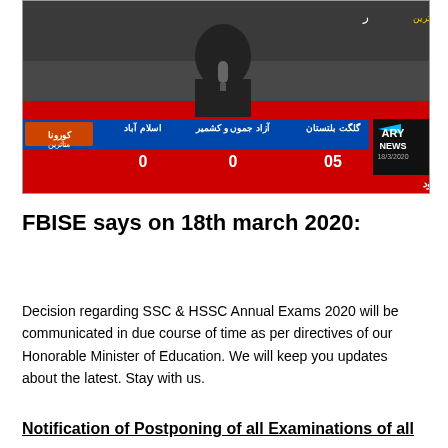[Figure (screenshot): ARY News TV screenshot dated 18/3/2020 showing a news anchor at a podium with Urdu text ticker about corona virus and exam postponement. Data shows Gilgit Baltistan: 05, Azad Jammu & Kashmir: 0, Islamabad: 0. Bottom ticker in Urdu about postponing all exams until June.]
FBISE says on 18th march 2020:
Decision regarding SSC & HSSC Annual Exams 2020 will be communicated in due course of time as per directives of our Honorable Minister of Education. We will keep you updates about the latest. Stay with us.
Notification of Postponing of all Examinations of all